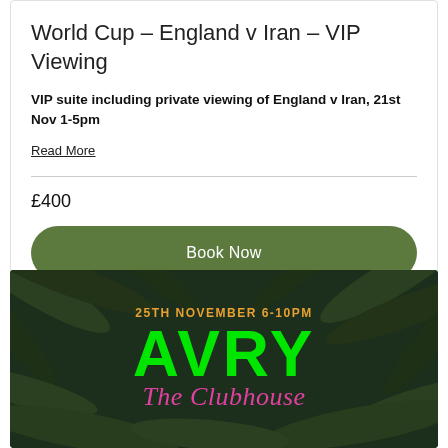World Cup – England v Iran – VIP Viewing
VIP suite including private viewing of England v Iran, 21st Nov 1-5pm
Read More
£400
Book Now
[Figure (illustration): Dark tropical palm leaf background banner with text: '25TH NOVEMBER 6-10PM' in orange, 'AVRY' in large bright green bold letters, 'The Clubhouse' in pink cursive script.]